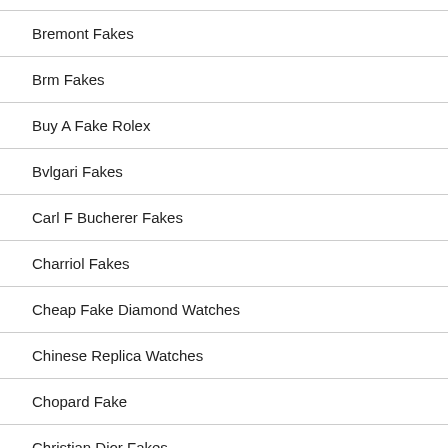Bremont Fakes
Brm Fakes
Buy A Fake Rolex
Bvlgari Fakes
Carl F Bucherer Fakes
Charriol Fakes
Cheap Fake Diamond Watches
Chinese Replica Watches
Chopard Fake
Christian Dior Fakes
Christopher Ward Fakes